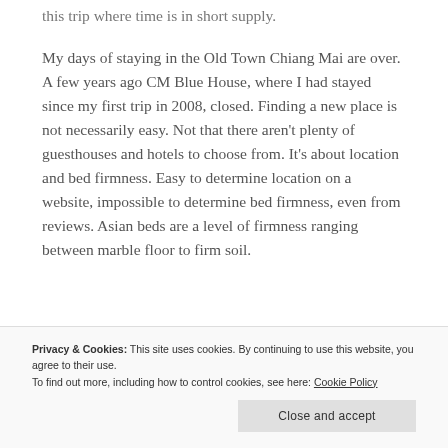this trip where time is in short supply.
My days of staying in the Old Town Chiang Mai are over. A few years ago CM Blue House, where I had stayed since my first trip in 2008, closed. Finding a new place is not necessarily easy. Not that there aren't plenty of guesthouses and hotels to choose from. It's about location and bed firmness. Easy to determine location on a website, impossible to determine bed firmness, even from reviews. Asian beds are a level of firmness ranging between marble floor to firm soil.
my 2 nights in Chiang Mai. Despite the beds
Privacy & Cookies: This site uses cookies. By continuing to use this website, you agree to their use.
To find out more, including how to control cookies, see here: Cookie Policy
Close and accept